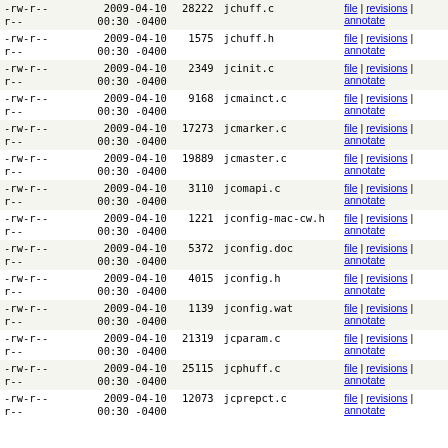| permissions | date | size | filename | links |
| --- | --- | --- | --- | --- |
| -rw-r--r-- | 2009-04-10 00:30 -0400 | 28222 | jchuff.c | file | revisions | annotate |
| -rw-r--r-- | 2009-04-10 00:30 -0400 | 1575 | jchuff.h | file | revisions | annotate |
| -rw-r--r-- | 2009-04-10 00:30 -0400 | 2349 | jcinit.c | file | revisions | annotate |
| -rw-r--r-- | 2009-04-10 00:30 -0400 | 9168 | jcmainct.c | file | revisions | annotate |
| -rw-r--r-- | 2009-04-10 00:30 -0400 | 17273 | jcmarker.c | file | revisions | annotate |
| -rw-r--r-- | 2009-04-10 00:30 -0400 | 19889 | jcmaster.c | file | revisions | annotate |
| -rw-r--r-- | 2009-04-10 00:30 -0400 | 3110 | jcomapi.c | file | revisions | annotate |
| -rw-r--r-- | 2009-04-10 00:30 -0400 | 1221 | jconfig-mac-cw.h | file | revisions | annotate |
| -rw-r--r-- | 2009-04-10 00:30 -0400 | 5372 | jconfig.doc | file | revisions | annotate |
| -rw-r--r-- | 2009-04-10 00:30 -0400 | 4015 | jconfig.h | file | revisions | annotate |
| -rw-r--r-- | 2009-04-10 00:30 -0400 | 1139 | jconfig.wat | file | revisions | annotate |
| -rw-r--r-- | 2009-04-10 00:30 -0400 | 21319 | jcparam.c | file | revisions | annotate |
| -rw-r--r-- | 2009-04-10 00:30 -0400 | 25115 | jcphuff.c | file | revisions | annotate |
| -rw-r--r-- | 2009-04-10 00:30 -0400 | 12073 | jcprepct.c | file | revisions | annotate |